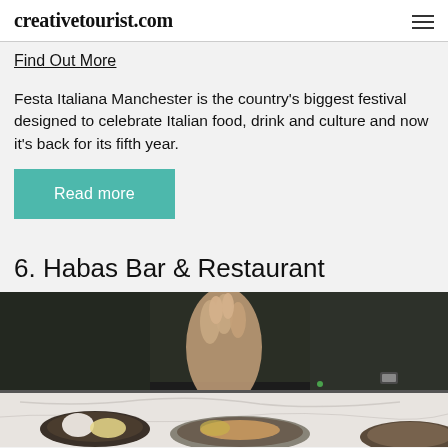creativetourist.com
Find Out More
Festa Italiana Manchester is the country's biggest festival designed to celebrate Italian food, drink and culture and now it's back for its fifth year.
Read more
6. Habas Bar & Restaurant
[Figure (photo): A chef's hand sprinkling seasoning over a dish at Habas Bar & Restaurant, dark moody food photography with dishes visible on a marble surface below]